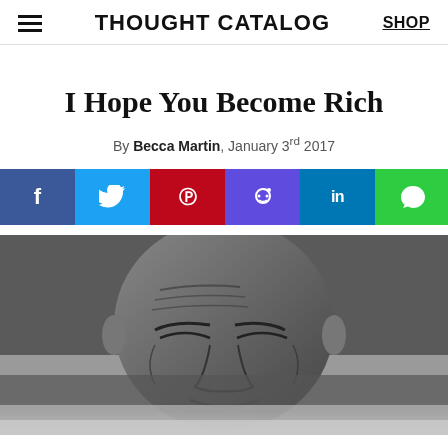THOUGHT CATALOG | SHOP
I Hope You Become Rich
By Becca Martin, January 3rd 2017
[Figure (infographic): Social sharing buttons: Facebook, Twitter, Pinterest, Reddit, LinkedIn, Messenger]
[Figure (photo): Black and white close-up photograph of an elderly man's face, squinting and smiling, lower portion fading into lighter background]